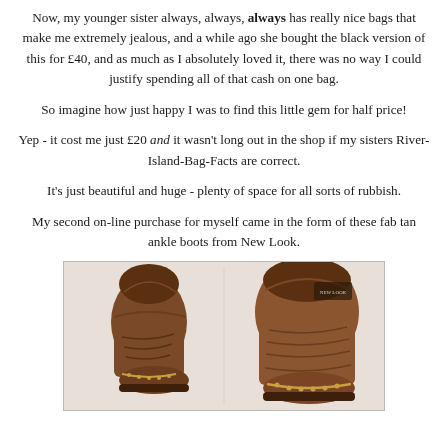Now, my younger sister always, always, always has really nice bags that make me extremely jealous, and a while ago she bought the black version of this for £40, and as much as I absolutely loved it, there was no way I could justify spending all of that cash on one bag.
So imagine how just happy I was to find this little gem for half price!
Yep - it cost me just £20 and it wasn't long out in the shop if my sisters River-Island-Bag-Facts are correct.
It's just beautiful and huge - plenty of space for all sorts of rubbish.
My second on-line purchase for myself came in the form of these fab tan ankle boots from New Look.
[Figure (photo): Photo of tan suede ankle boots from New Look, shown as a pair, with chain/stud detailing around the ankle area.]